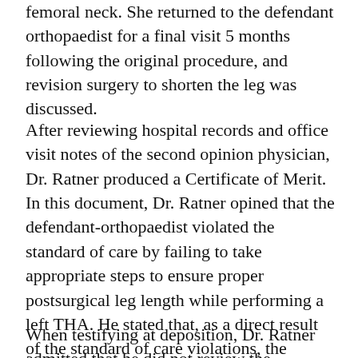femoral neck. She returned to the defendant orthopaedist for a final visit 5 months following the original procedure, and revision surgery to shorten the leg was discussed.
After reviewing hospital records and office visit notes of the second opinion physician, Dr. Ratner produced a Certificate of Merit. In this document, Dr. Ratner opined that the defendant-orthopaedist violated the standard of care by failing to take appropriate steps to ensure proper postsurgical leg length while performing a left THA. He stated that, as a direct result of the standard of care violations, the patient suffered an excessively lengthened left leg and was otherwise injured and damaged.
When testifying at deposition, Dr. Ratner admitted that he did not review the defendant-